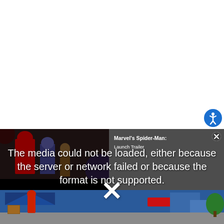[Figure (screenshot): A webpage screenshot showing a video player with an error message overlay. The top portion is white. There is a blue circular accessibility icon button in the upper right. The bottom portion shows a video player with a dark background on the left (showing costumed characters) and a gray panel on the right with text 'Marvel's Spider-Man: Launch Trailer'. Over the video area is a large white error message: 'The media could not be loaded, either because the server or network failed or because the format is not supported.' with a large 'X' symbol below it. At the bottom is a game screenshot showing a blue outdoor scene with a red character figure.]
The media could not be loaded, either because the server or network failed or because the format is not supported.
Marvel's Spider-Man: Launch Trailer